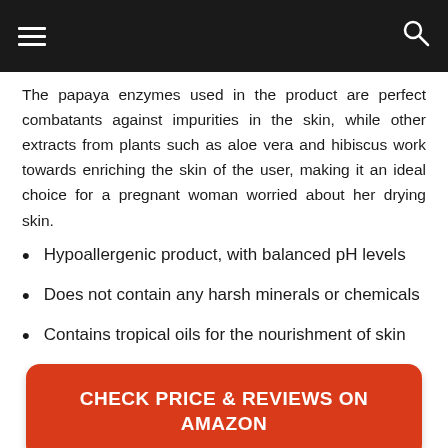≡  🔍
The papaya enzymes used in the product are perfect combatants against impurities in the skin, while other extracts from plants such as aloe vera and hibiscus work towards enriching the skin of the user, making it an ideal choice for a pregnant woman worried about her drying skin.
Hypoallergenic product, with balanced pH levels
Does not contain any harsh minerals or chemicals
Contains tropical oils for the nourishment of skin
CHECK PRICE & REVIEWS ON AMAZON